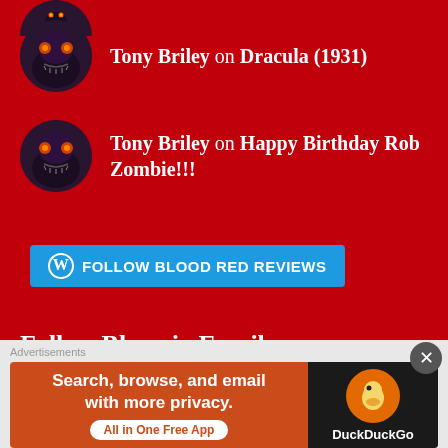[Figure (illustration): Circular avatar showing a dark wolf/panther creature with glowing red/orange eyes, partially cropped at top of page]
Tony Briley on Dracula (1931)
[Figure (illustration): Circular avatar showing a dark wolf/panther creature with glowing orange eyes, snarling expression]
Tony Briley on Happy Birthday Rob Zombie!!!
[Figure (other): Follow BLOOD RED REVIEWS button with WordPress logo icon in blue/cyan color]
Follow Blog via Email
Enter your email address to follow this blog and receive notifications of new posts by email.
Advertisements
[Figure (illustration): DuckDuckGo advertisement banner: Search, browse, and email with more privacy. All in One Free App. Shows DuckDuckGo duck logo.]